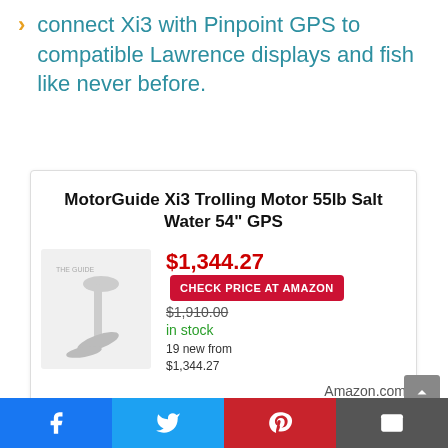connect Xi3 with Pinpoint GPS to compatible Lawrence displays and fish like never before.
[Figure (screenshot): Amazon product card for MotorGuide Xi3 Trolling Motor 55lb Salt Water 54" GPS. Current price $1,344.27, original price $1,910.00, in stock, 19 new from $1,344.27. CHECK PRICE AT AMAZON button. Amazon.com. Last updated on August 27, 2022 5:54.]
Social sharing bar with Facebook, Twitter, Pinterest, and email icons